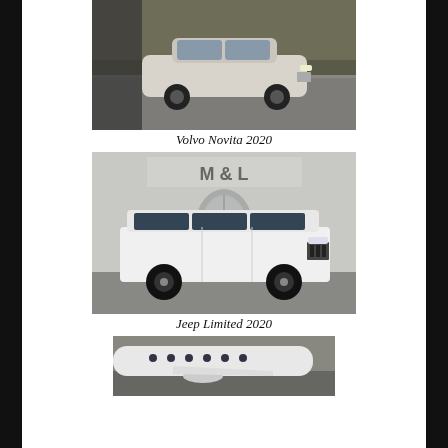[Figure (photo): A silver/beige Volvo sedan photographed on a gravel road with trees in the background.]
Volvo Novita 2020
[Figure (photo): A white Jeep Grand Cherokee SUV with black wheels parked in front of an M & L dealership building.]
Jeep Limited 2020
[Figure (photo): Partial view of a white private jet or aircraft on a tarmac.]